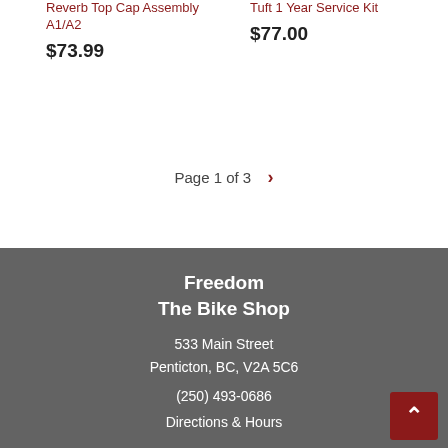Reverb Top Cap Assembly A1/A2
$73.99
Tuft 1 Year Service Kit
$77.00
Page 1 of 3 >
Freedom
The Bike Shop
533 Main Street
Penticton, BC, V2A 5C6
(250) 493-0686
Directions & Hours